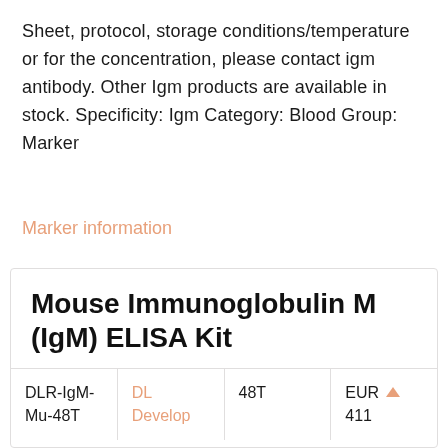Sheet, protocol, storage conditions/temperature or for the concentration, please contact igm antibody. Other Igm products are available in stock. Specificity: Igm Category: Blood Group: Marker
Marker information
| Product ID | Supplier | Quantity | Price |
| --- | --- | --- | --- |
| DLR-IgM-Mu-48T | DL Develop | 48T | EUR 411 |
Mouse Immunoglobulin M (IgM) ELISA Kit